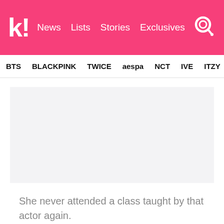k! News Lists Stories Exclusives
BTS BLACKPINK TWICE aespa NCT IVE ITZY
[Figure (photo): Gray placeholder image area]
She never attended a class taught by that actor again.